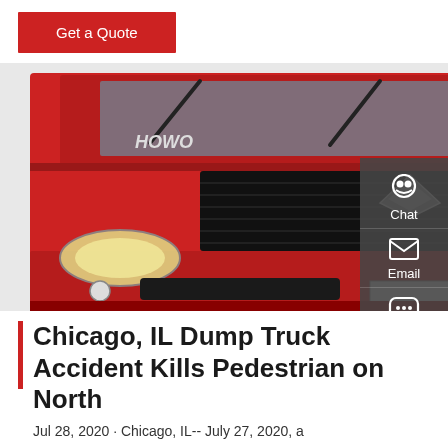Get a Quote
[Figure (photo): Front view of a red HOWO CNHTC 380 dump truck against a light background, showing the grille, headlights, and windshield wipers]
Chicago, IL Dump Truck Accident Kills Pedestrian on North
Jul 28, 2020 · Chicago, IL-- July 27, 2020, a